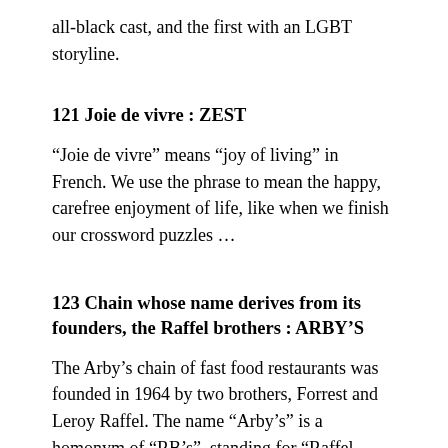all-black cast, and the first with an LGBT storyline.
121 Joie de vivre : ZEST
“Joie de vivre” means “joy of living” in French. We use the phrase to mean the happy, carefree enjoyment of life, like when we finish our crossword puzzles …
123 Chain whose name derives from its founders, the Raffel brothers : ARBY’S
The Arby’s chain of fast food restaurants was founded in 1964 by two brothers, Forrest and Leroy Raffel. The name “Arby’s” is a homonym of “RB’s”, standing for “Raffel Brothers”. There is a rumor out there that the initials “RB” were chosen for “roast beef”, but that’s not true.